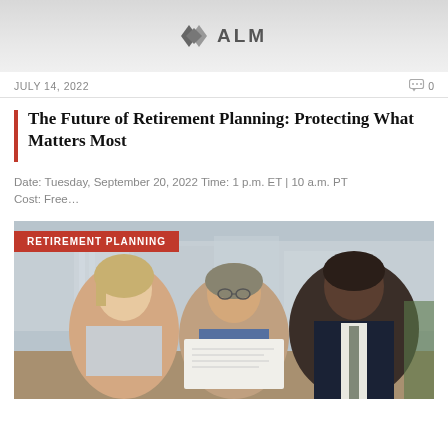[Figure (logo): ALM logo with arrow/chevron icon in grey banner]
JULY 14, 2022    💬 0
The Future of Retirement Planning: Protecting What Matters Most
Date: Tuesday, September 20, 2022 Time: 1 p.m. ET | 10 a.m. PT Cost: Free…
[Figure (photo): Three people (two older adults and a younger man in a suit) looking at a document together in a modern office setting with city view background. Red badge overlay reading RETIREMENT PLANNING.]